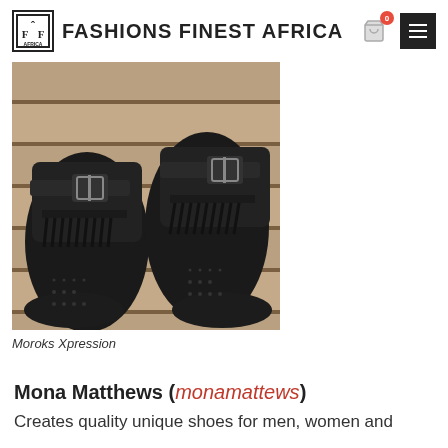Fashions Finest Africa
[Figure (photo): Two black leather monk strap dress shoes with kiltie fringe detail and decorative brogue perforations, displayed on wooden slats background]
Moroks Xpression
Mona Matthews (monamattews)
Creates quality unique shoes for men, women and